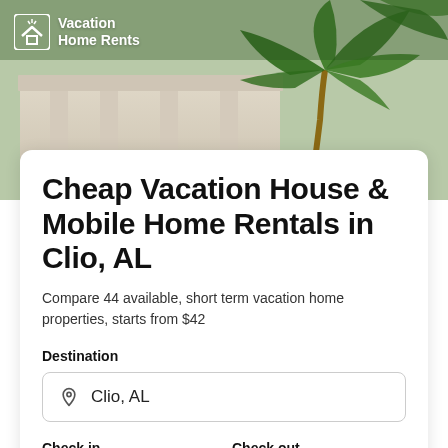Vacation Home Rents
Cheap Vacation House & Mobile Home Rentals in Clio, AL
Compare 44 available, short term vacation home properties, starts from $42
Destination
Clio, AL
Check in
Check out